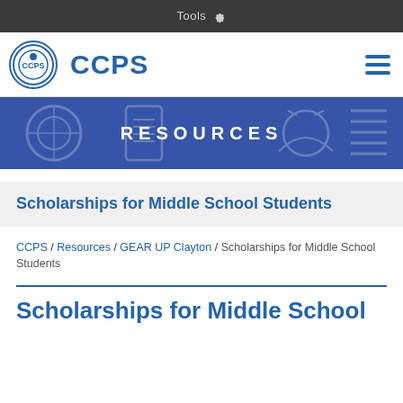Tools
[Figure (logo): CCPS logo with circular emblem and 'CCPS' text, hamburger menu icon on right]
[Figure (infographic): Blue banner with text RESOURCES and decorative educational icons in background]
Scholarships for Middle School Students
CCPS / Resources / GEAR UP Clayton / Scholarships for Middle School Students
Scholarships for Middle School